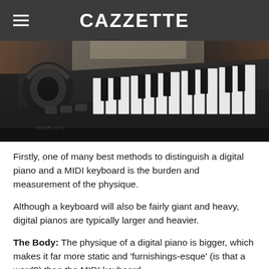CAZZETTE
[Figure (photo): Close-up photo of a black MIDI keyboard/digital piano with white and black keys, headphones resting on top, shot in a studio environment with warm background lighting.]
Firstly, one of many best methods to distinguish a digital piano and a MIDI keyboard is the burden and measurement of the physique.
Although a keyboard will also be fairly giant and heavy, digital pianos are typically larger and heavier.
The Body: The physique of a digital piano is bigger, which makes it far more static and 'furnishings-esque' (is that a word?) than the MIDI keyboard.